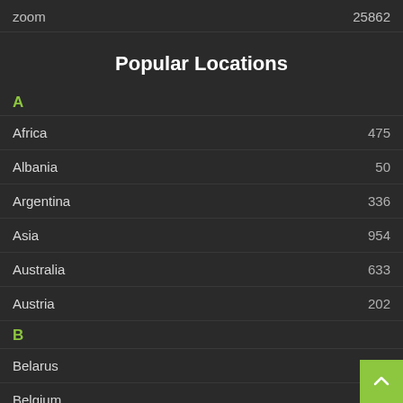zoom  25862
Popular Locations
A
Africa  475
Albania  50
Argentina  336
Asia  954
Australia  633
Austria  202
B
Belarus  941
Belgium  242
Brazil  489
Budapest